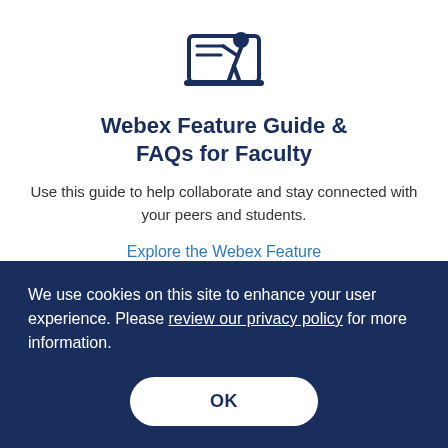[Figure (illustration): Icon of a person at a whiteboard/laptop, teaching, in dark navy blue]
Webex Feature Guide & FAQs for Faculty
Use this guide to help collaborate and stay connected with your peers and students.
Explore the Webex Feature Guide & FAQs for Faculty
We use cookies on this site to enhance your user experience. Please review our privacy policy for more information.
OK